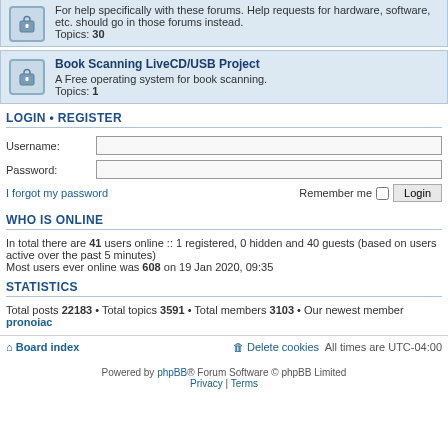For help specifically with these forums. Help requests for hardware, software, etc. should go in those forums instead. Topics: 30
Book Scanning LiveCD/USB Project
A Free operating system for book scanning.
Topics: 1
LOGIN • REGISTER
Username:
Password:
I forgot my password
Remember me  Login
WHO IS ONLINE
In total there are 41 users online :: 1 registered, 0 hidden and 40 guests (based on users active over the past 5 minutes)
Most users ever online was 608 on 19 Jan 2020, 09:35
STATISTICS
Total posts 22183 • Total topics 3591 • Total members 3103 • Our newest member pronoiac
Board index   Delete cookies   All times are UTC-04:00
Powered by phpBB® Forum Software © phpBB Limited
Privacy | Terms